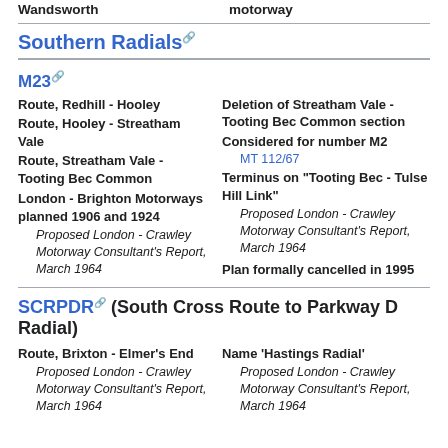Wandsworth | motorway
Southern Radials
M23
Route, Redhill - Hooley
Route, Hooley - Streatham Vale
Route, Streatham Vale - Tooting Bec Common
London - Brighton Motorways planned 1906 and 1924
Proposed London - Crawley Motorway Consultant's Report, March 1964
Deletion of Streatham Vale - Tooting Bec Common section
Considered for number M2
MT 112/67
Terminus on "Tooting Bec - Tulse Hill Link"
Proposed London - Crawley Motorway Consultant's Report, March 1964
Plan formally cancelled in 1995
SCRPDR (South Cross Route to Parkway D Radial)
Route, Brixton - Elmer's End
Proposed London - Crawley Motorway Consultant's Report, March 1964
Name 'Hastings Radial'
Proposed London - Crawley Motorway Consultant's Report, March 1964